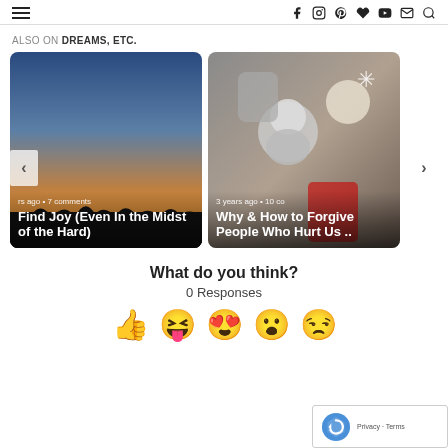Navigation and social icons: Facebook, Instagram, Pinterest, Heart, YouTube, Mail, Search
ALSO ON DREAMS, ETC.
[Figure (photo): Blog post card: sunset/dusk sky photo with article title 'Find Joy (Even In the Midst of the Hard)' and meta text 'rs ago • 7 comments']
[Figure (photo): Blog post card: crafted figurines/dolls photo with article title 'Why & How to Forgive People Who Hurt Us ..' and meta text '3 years ago • 10 co']
What do you think?
0 Responses
[Figure (illustration): Emoji reactions row: thumbs up, laughing tongue-out face, heart-eyes face, surprised face, sleepy/sad face]